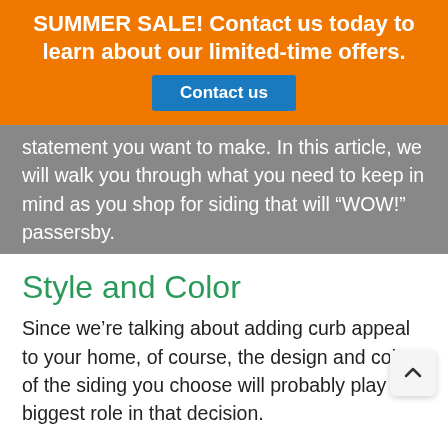SUMMER SALE! Contact us today to learn about our limited-time offers.
statement you want to make. In this article, we will walk you through what you need to keep in mind as you shop for siding that will “WOW!” passersby.
Style and Color
Since we’re talking about adding curb appeal to your home, of course, the design and color of the siding you choose will probably play the biggest role in that decision.
Full disclosure, though: That choice might feel overwhelming because you have so much to choose from. In materials alone, siding can be made of vinyl, aluminum, steel, wood, brick, stone, and fiber cement. Each material is further customizable.